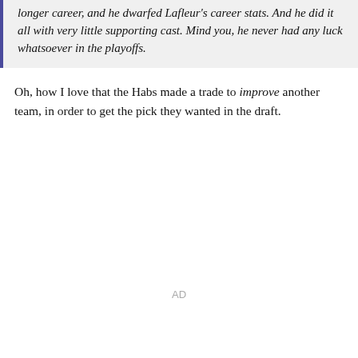longer career, and he dwarfed Lafleur's career stats. And he did it all with very little supporting cast. Mind you, he never had any luck whatsoever in the playoffs.
Oh, how I love that the Habs made a trade to improve another team, in order to get the pick they wanted in the draft.
AD